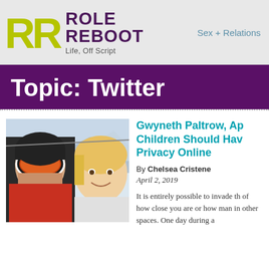[Figure (logo): Role Reboot logo with olive/yellow-green double-R lettermark and purple ROLE REBOOT text, tagline Life, Off Script]
Sex + Relations
Topic: Twitter
[Figure (photo): Two children on a ski slope selfie; one wearing red ski goggles and black helmet, the other a blonde child smiling, snowy mountain background]
Gwyneth Paltrow, Ap Children Should Hav Privacy Online
By Chelsea Cristene
April 2, 2019
It is entirely possible to invade th of how close you are or how man in other spaces. One day during a